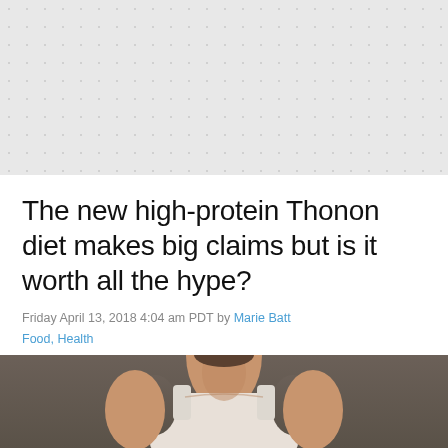[Figure (photo): Light grey dotted/textured background image filling the top portion of the page]
The new high-protein Thonon diet makes big claims but is it worth all the hype?
Friday April 13, 2018 4:04 am PDT by Marie Batt
Food, Health
[Figure (photo): Photo of a woman in a white sleeveless tank top, cropped to show neck/chest/shoulders area, with a blurred dark background]